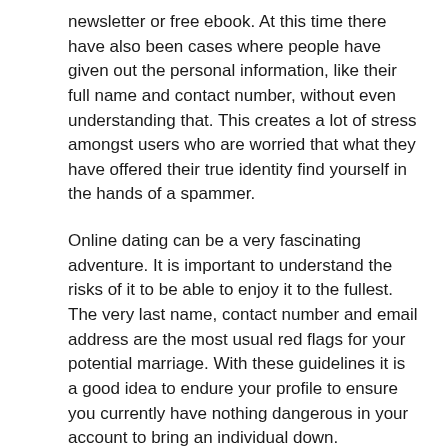newsletter or free ebook. At this time there have also been cases where people have given out the personal information, like their full name and contact number, without even understanding that. This creates a lot of stress amongst users who are worried that what they have offered their true identity find yourself in the hands of a spammer.
Online dating can be a very fascinating adventure. It is important to understand the risks of it to be able to enjoy it to the fullest. The very last name, contact number and email address are the most usual red flags for your potential marriage. With these guidelines it is a good idea to endure your profile to ensure you currently have nothing dangerous in your account to bring an individual down.